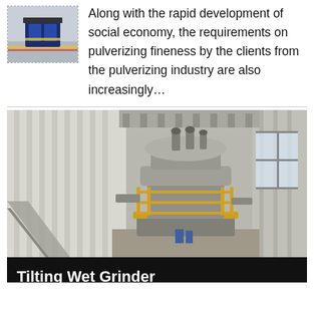[Figure (photo): Small industrial pulverizing machine photo with yellow/blue/red coloring, dashed border]
Along with the rapid development of social economy, the requirements on pulverizing fineness by the clients from the pulverizing industry are also increasingly…
[Figure (photo): Large industrial wet grinder machine inside a factory building, showing large cylindrical vertical mill with yellow safety railings, surrounded by silos and industrial equipment, viewed from above]
Tilting Wet Grinder